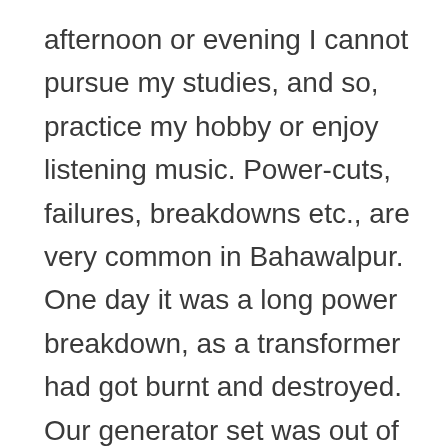afternoon or evening I cannot pursue my studies, and so, practice my hobby or enjoy listening music. Power-cuts, failures, breakdowns etc., are very common in Bahawalpur. One day it was a long power breakdown, as a transformer had got burnt and destroyed. Our generator set was out of order. Therefore, that day I really went to bed with the lamb and woke up with the lark. It was an exceptional day for me.